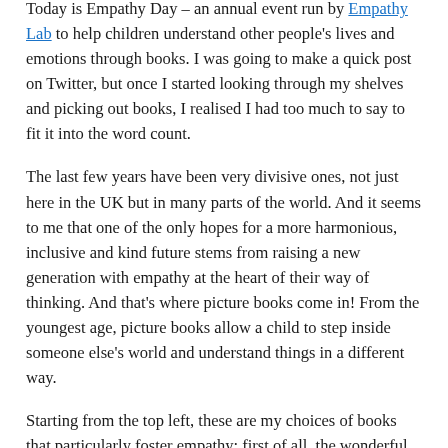Today is Empathy Day – an annual event run by Empathy Lab to help children understand other people's lives and emotions through books. I was going to make a quick post on Twitter, but once I started looking through my shelves and picking out books, I realised I had too much to say to fit it into the word count.
The last few years have been very divisive ones, not just here in the UK but in many parts of the world. And it seems to me that one of the only hopes for a more harmonious, inclusive and kind future stems from raising a new generation with empathy at the heart of their way of thinking. And that's where picture books come in! From the youngest age, picture books allow a child to step inside someone else's world and understand things in a different way.
Starting from the top left, these are my choices of books that particularly foster empathy: first of all, the wonderful Frog and Toad story series by Arnold Lobel. These were first